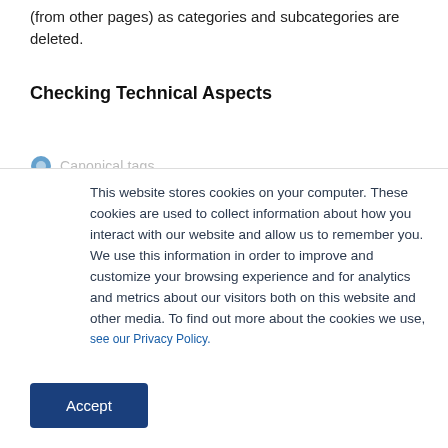(from other pages) as categories and subcategories are deleted.
Checking Technical Aspects
Canonical tags
This website stores cookies on your computer. These cookies are used to collect information about how you interact with our website and allow us to remember you. We use this information in order to improve and customize your browsing experience and for analytics and metrics about our visitors both on this website and other media. To find out more about the cookies we use, see our Privacy Policy.
Accept